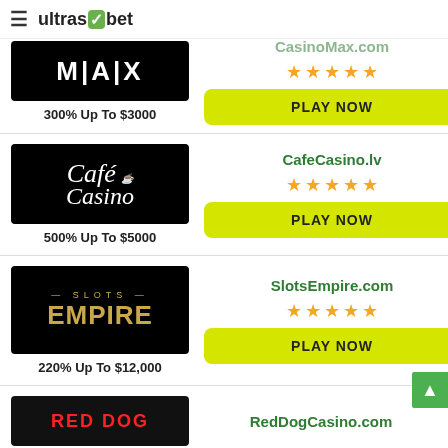ultrasbet
CasinoMax.com
300% Up To $3000
PLAY NOW
CafeCasino.lv
500% Up To $5000
PLAY NOW
SlotsEmpire.com
220% Up To $12,000
PLAY NOW
RedDogCasino.com